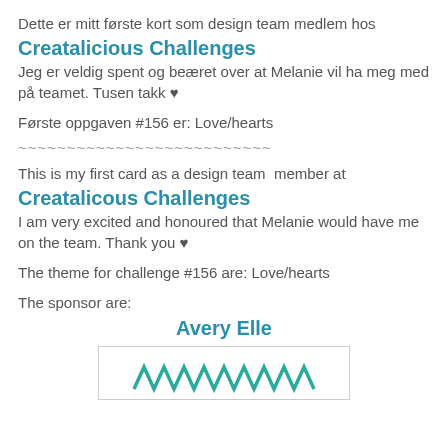Dette er mitt første kort som design team medlem hos
Creatalicious Challenges
Jeg er veldig spent og beæret over at Melanie vil ha meg med på teamet. Tusen takk ♥
Første oppgaven #156 er: Love/hearts
~~~~~~~~~~~~~~~~~~~~~~~~~~
This is my first card as a design team  member at
Creatalicous Challenges
I am very excited and honoured that Melanie would have me on the team. Thank you ♥
The theme for challenge #156 are: Love/hearts
The sponsor are:
Avery Elle
[Figure (logo): Avery Elle logo with zigzag/crown graphic]